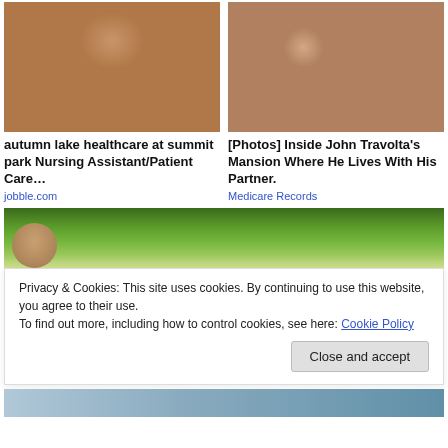[Figure (photo): Healthcare worker in blue scrubs holding a clipboard, smiling, with medical team in background]
[Figure (photo): Two men in suits, one kissing the other on the cheek, in what appears to be a theater or formal event]
autumn lake healthcare at summit park Nursing Assistant/Patient Care…
jobble.com
[Photos] Inside John Travolta's Mansion Where He Lives With His Partner.
Medicare Records
[Figure (photo): Outdoor scenic photo with green landscape and a person's head visible at bottom]
Privacy & Cookies: This site uses cookies. By continuing to use this website, you agree to their use.
To find out more, including how to control cookies, see here: Cookie Policy
Close and accept
[Figure (photo): Partially visible photo at bottom of page]